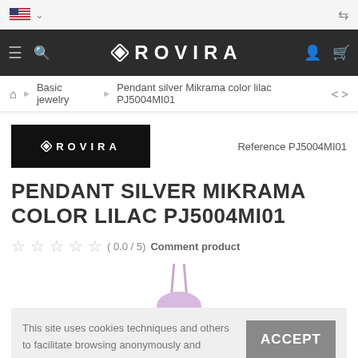ROVIRA - Navigation bar with hamburger, search, logo, user and cart icons
Basic jewelry › Pendant silver Mikrama color lilac PJ5004MI01
[Figure (logo): ROVIRA brand logo on black background]
Reference PJ5004MI01
PENDANT SILVER MIKRAMA COLOR LILAC PJ5004MI01
( 0.0 / 5) Comment product
This site uses cookies techniques and others to facilitate browsing anonymously and analyze statistics of web usage. We believe that if you continue browsing, accepts its use. More information.